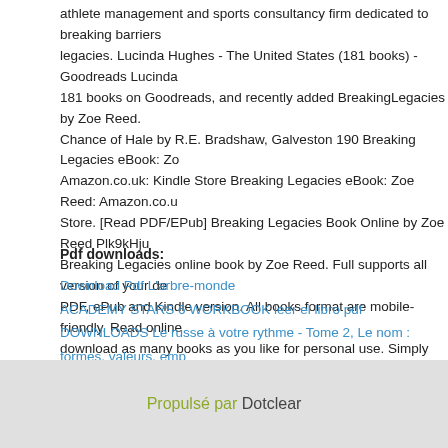athlete management and sports consultancy firm dedicated to breaking barriers legacies. Lucinda Hughes - The United States (181 books) - Goodreads Lucinda 181 books on Goodreads, and recently added BreakingLegacies by Zoe Reed. Chance of Hale by R.E. Bradshaw, Galveston 190 Breaking Legacies eBook: Zo Amazon.co.uk: Kindle Store Breaking Legacies eBook: Zoe Reed: Amazon.co.u Store. [Read PDF/EPub] Breaking Legacies Book Online by Zoe Reed Plk9kHju Breaking Legacies online book by Zoe Reed. Full supports all version of your de PDF, ePub and Kindle version. All books format are mobile-friendly. Read online download as many books as you like for personal use. Simply FREE SIGN-UP f TRIAL account. Join over  Breaking Legacies by Zoe Reed (2016, Paperback) | great deals for Breaking Legacies by Zoe Reed (2016, Paperback). Shop with c eBay!
Pdf downloads:
Download Pdf L'arbre-monde
ACADEMY STARS 6 WORKBOOK leer el libro pdf
DOWNLOADS Le russe à votre rythme - Tome 2, Le nom : formes, valeurs, emp
Download PDF Dooku: Jedi Lost (Star Wars)
[download pdf] Tactical Medicine Essentials / Edition 2
Propulsé par Dotclear